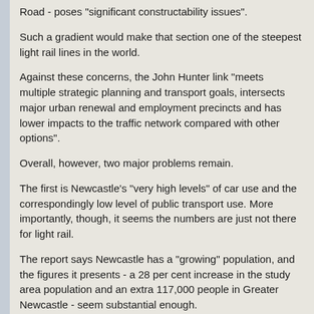Road - poses "significant constructability issues".
Such a gradient would make that section one of the steepest light rail lines in the world.
Against these concerns, the John Hunter link "meets multiple strategic planning and transport goals, intersects major urban renewal and employment precincts and has lower impacts to the traffic network compared with other options".
Overall, however, two major problems remain.
The first is Newcastle's "very high levels" of car use and the correspondingly low level of public transport use. More importantly, though, it seems the numbers are just not there for light rail.
The report says Newcastle has a "growing" population, and the figures it presents - a 28 per cent increase in the study area population and an extra 117,000 people in Greater Newcastle - seem substantial enough.
But these are figures for the 40 years from 2016: a population increase of just 0.7 per cent annually for the project area, and 3000 a year across Greater Newcastle.
For perspective, Greater Sydney's population is set to grow by about 3